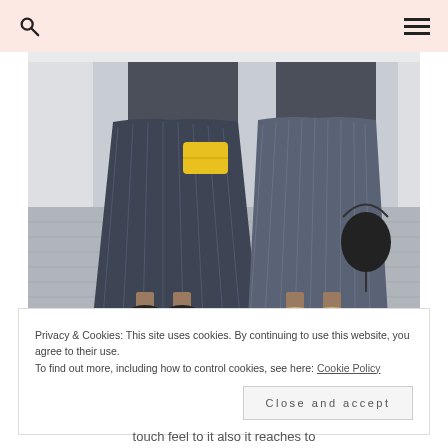[Figure (photo): Two women wearing matching dark pleated metallic midi skirts, one with a yellow crossbody bag and floral slides, the other with a black bucket bag and studded flat sandals, walking on a cobblestone plaza.]
Privacy & Cookies: This site uses cookies. By continuing to use this website, you agree to their use.
To find out more, including how to control cookies, see here: Cookie Policy
Close and accept
touch feel to it also it reaches to